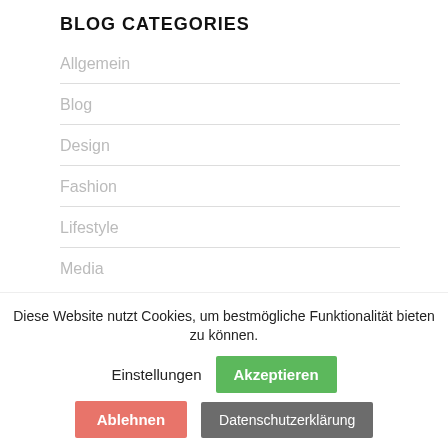BLOG CATEGORIES
Allgemein
Blog
Design
Fashion
Lifestyle
Media
Diese Website nutzt Cookies, um bestmögliche Funktionalität bieten zu können.  Einstellungen  Akzeptieren  Ablehnen  Datenschutzerklärung